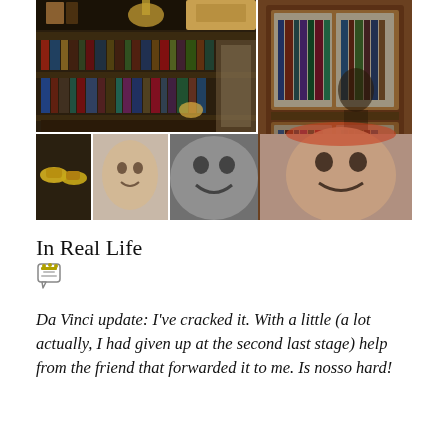[Figure (photo): Collage of photos showing bookshelves, a wooden cabinet with glass doors filled with books, shoes, and three people's faces in black and white and color]
In Real Life
[Figure (illustration): Small comment/speech bubble icon]
Da Vinci update: I've cracked it. With a little (a lot actually, I had given up at the second last stage) help from the friend that forwarded it to me. Is nosso hard!